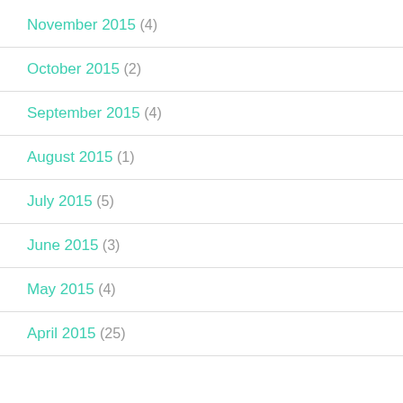November 2015 (4)
October 2015 (2)
September 2015 (4)
August 2015 (1)
July 2015 (5)
June 2015 (3)
May 2015 (4)
April 2015 (25)